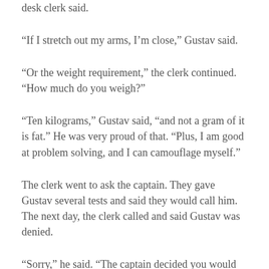desk clerk said.
“If I stretch out my arms, I’m close,” Gustav said.
“Or the weight requirement,” the clerk continued. “How much do you weigh?”
“Ten kilograms,” Gustav said, “and not a gram of it is fat.” He was very proud of that. “Plus, I am good at problem solving, and I can camouflage myself.”
The clerk went to ask the captain. They gave Gustav several tests and said they would call him. The next day, the clerk called and said Gustav was denied.
“Sorry,” he said. “The captain decided you would make everyone else look bad. After all, we all only have two